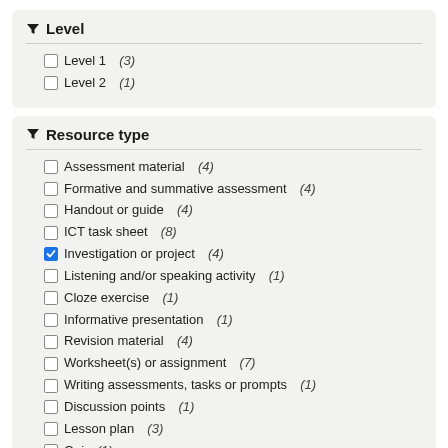Level
Level 1  (3)
Level 2  (1)
Resource type
Assessment material  (4)
Formative and summative assessment  (4)
Handout or guide  (4)
ICT task sheet  (8)
Investigation or project  (4)
Listening and/or speaking activity  (1)
Cloze exercise  (1)
Informative presentation  (1)
Revision material  (4)
Worksheet(s) or assignment  (7)
Writing assessments, tasks or prompts  (1)
Discussion points  (1)
Lesson plan  (3)
Quiz  (1)